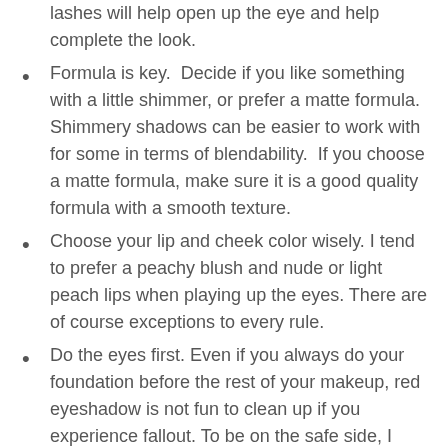lashes will help open up the eye and help complete the look.
Formula is key.  Decide if you like something with a little shimmer, or prefer a matte formula.  Shimmery shadows can be easier to work with for some in terms of blendability.  If you choose a matte formula, make sure it is a good quality formula with a smooth texture.
Choose your lip and cheek color wisely. I tend to prefer a peachy blush and nude or light peach lips when playing up the eyes. There are of course exceptions to every rule.
Do the eyes first. Even if you always do your foundation before the rest of your makeup, red eyeshadow is not fun to clean up if you experience fallout. To be on the safe side, I highly recommend doing your eyes first, and foundation second.
Check out my Pinterest board on red eyeshadow for